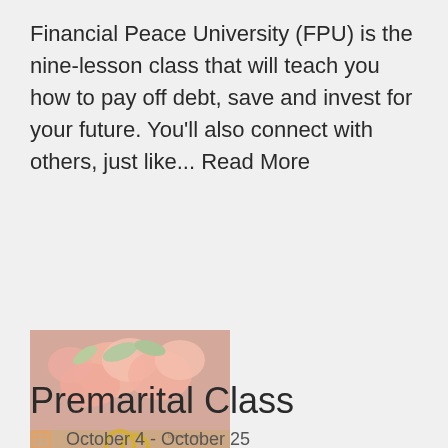Financial Peace University (FPU) is the nine-lesson class that will teach you how to pay off debt, save and invest for your future. You'll also connect with others, just like... Read More
[Figure (photo): Photograph of flowers and rings on a table with a pink banner reading 'Premarital Class']
Premarital Class
October 4 - October 25